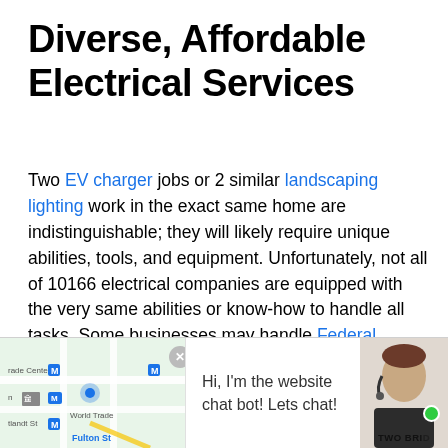Diverse, Affordable Electrical Services
Two EV charger jobs or 2 similar landscaping lighting work in the exact same home are indistinguishable; they will likely require unique abilities, tools, and equipment. Unfortunately, not all of 10166 electrical companies are equipped with the very same abilities or know-how to handle all tasks. Some businesses may handle Federal Pacific Electrical Panel installations and repairs, whereas others can't. This is something you do not have to worry about when you employ us. We are capable of handling any electrical endeavor!
[Figure (screenshot): Bottom bar showing a map snippet of World Trade Center area on the left, a chat bot popup in the middle saying 'Hi, I'm the website chat bot! Lets chat!', and a customer service avatar photo with 'TWO BRI' text and a green dot on the right.]